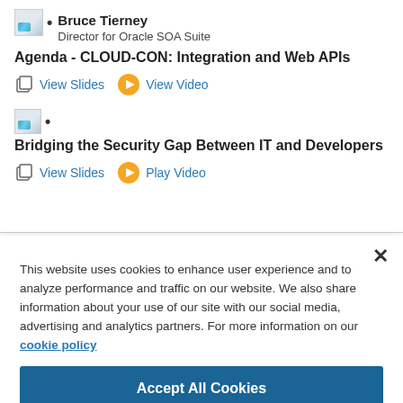Bruce Tierney
Director for Oracle SOA Suite
Agenda - CLOUD-CON: Integration and Web APIs
View Slides  View Video
[Figure (illustration): Small thumbnail image with bullet dot, second speaker]
Bridging the Security Gap Between IT and Developers
View Slides  Play Video
This website uses cookies to enhance user experience and to analyze performance and traffic on our website. We also share information about your use of our site with our social media, advertising and analytics partners. For more information on our cookie policy
Accept All Cookies
Cookies Settings